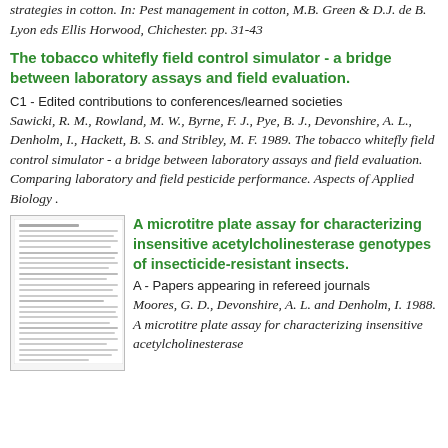strategies in cotton. In: Pest management in cotton, M.B. Green & D.J. de B. Lyon eds Ellis Horwood, Chichester. pp. 31-43
The tobacco whitefly field control simulator - a bridge between laboratory assays and field evaluation.
C1 - Edited contributions to conferences/learned societies
Sawicki, R. M., Rowland, M. W., Byrne, F. J., Pye, B. J., Devonshire, A. L., Denholm, I., Hackett, B. S. and Stribley, M. F. 1989. The tobacco whitefly field control simulator - a bridge between laboratory assays and field evaluation. Comparing laboratory and field pesticide performance. Aspects of Applied Biology .
[Figure (other): Thumbnail image of a scientific publication page]
A microtitre plate assay for characterizing insensitive acetylcholinesterase genotypes of insecticide-resistant insects.
A - Papers appearing in refereed journals
Moores, G. D., Devonshire, A. L. and Denholm, I. 1988. A microtitre plate assay for characterizing insensitive acetylcholinesterase